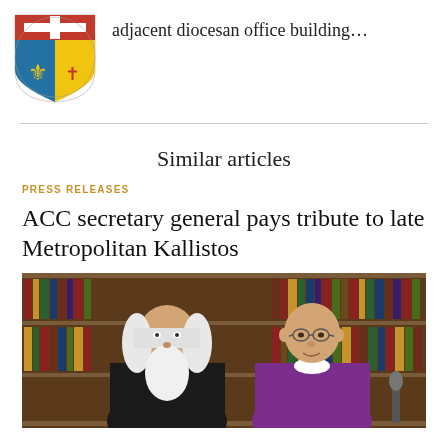[Figure (logo): Diocesan coat of arms / heraldic shield logo with cross and fleur-de-lis motifs]
adjacent diocesan office building…
Similar articles
PRESS RELEASES
ACC secretary general pays tribute to late Metropolitan Kallistos
[Figure (photo): Two men standing together in front of bookshelves. The man on the left has long white hair and a long white beard, wearing black clerical robes. The man on the right is bald wearing glasses and purple/magenta bishop vestments.]